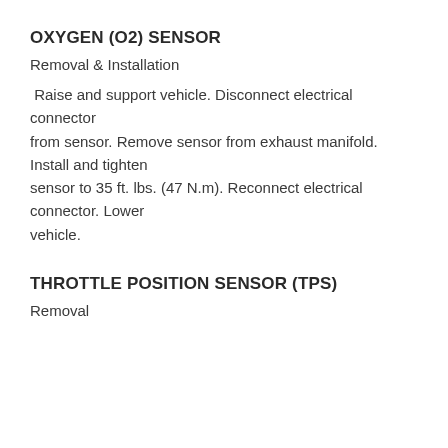OXYGEN (O2) SENSOR
Removal & Installation
Raise and support vehicle. Disconnect electrical connector from sensor. Remove sensor from exhaust manifold. Install and tighten sensor to 35 ft. lbs. (47 N.m). Reconnect electrical connector. Lower vehicle.
THROTTLE POSITION SENSOR (TPS)
Removal